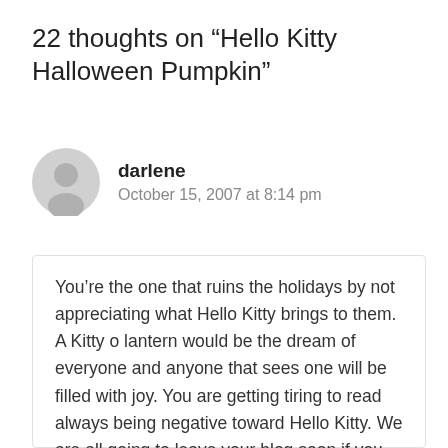22 thoughts on “Hello Kitty Halloween Pumpkin”
darlene
October 15, 2007 at 8:14 pm
You’re the one that ruins the holidays by not appreciating what Hello Kitty brings to them. A Kitty o lantern would be the dream of everyone and anyone that sees one will be filled with joy. You are getting tiring to read always being negative toward Hello Kitty. We are all going to leave your blog soon if you don’t change your ways.